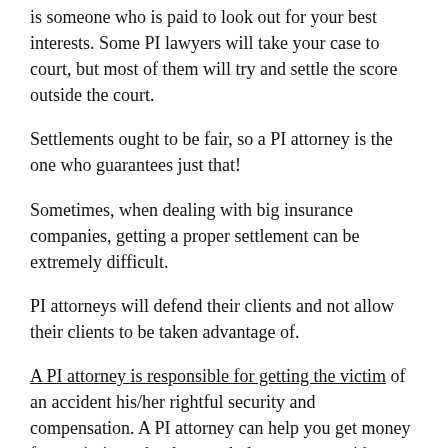is someone who is paid to look out for your best interests. Some PI lawyers will take your case to court, but most of them will try and settle the score outside the court.
Settlements ought to be fair, so a PI attorney is the one who guarantees just that!
Sometimes, when dealing with big insurance companies, getting a proper settlement can be extremely difficult.
PI attorneys will defend their clients and not allow their clients to be taken advantage of.
A PI attorney is responsible for getting the victim of an accident his/her rightful security and compensation. A PI attorney can help you get money from missing school or work due to your accident, and they can also help you get the best healthcare.